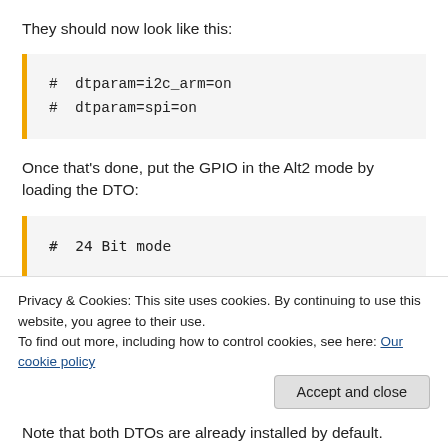They should now look like this:
# dtparam=i2c_arm=on
# dtparam=spi=on
Once that's done, put the GPIO in the Alt2 mode by loading the DTO:
# 24 Bit mode
Privacy & Cookies: This site uses cookies. By continuing to use this website, you agree to their use.
To find out more, including how to control cookies, see here: Our cookie policy
Note that both DTOs are already installed by default.